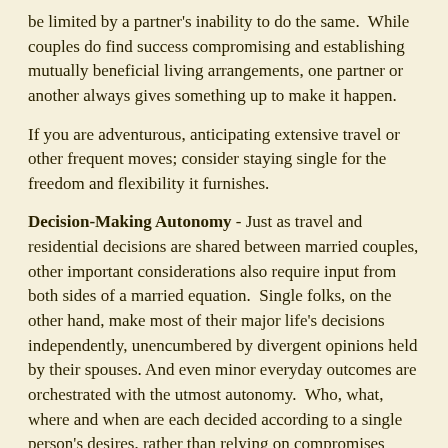be limited by a partner's inability to do the same. While couples do find success compromising and establishing mutually beneficial living arrangements, one partner or another always gives something up to make it happen.
If you are adventurous, anticipating extensive travel or other frequent moves; consider staying single for the freedom and flexibility it furnishes.
Decision-Making Autonomy - Just as travel and residential decisions are shared between married couples, other important considerations also require input from both sides of a married equation. Single folks, on the other hand, make most of their major life's decisions independently, unencumbered by divergent opinions held by their spouses. And even minor everyday outcomes are orchestrated with the utmost autonomy. Who, what, where and when are each decided according to a single person's desires, rather than relying on compromises made between a husband and wife.
Self-Actualization - Being your best self requires flexibility and the ability to respond to shortcomings in real-time. Too often,